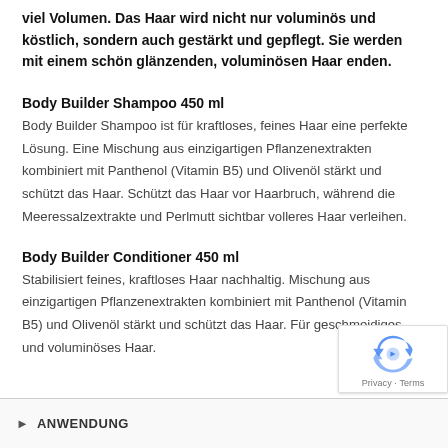viel Volumen. Das Haar wird nicht nur voluminös und köstlich, sondern auch gestärkt und gepflegt. Sie werden mit einem schön glänzenden, voluminösen Haar enden.
Body Builder Shampoo 450 ml
Body Builder Shampoo ist für kraftloses, feines Haar eine perfekte Lösung. Eine Mischung aus einzigartigen Pflanzenextrakten kombiniert mit Panthenol (Vitamin B5) und Olivenöl stärkt und schützt das Haar. Schützt das Haar vor Haarbruch, während die Meeressalzextrakte und Perlmutt sichtbar volleres Haar verleihen.
Body Builder Conditioner 450 ml
Stabilisiert feines, kraftloses Haar nachhaltig. Mischung aus einzigartigen Pflanzenextrakten kombiniert mit Panthenol (Vitamin B5) und Olivenöl stärkt und schützt das Haar. Für geschmeidiges und voluminöses Haar.
ANWENDUNG